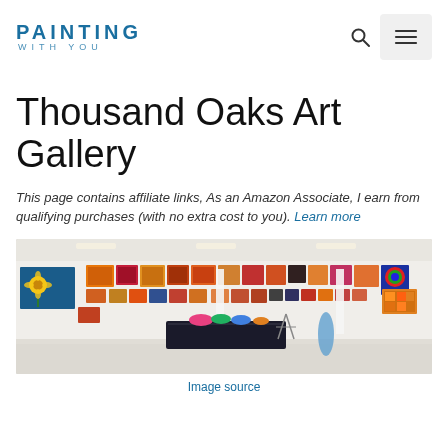PAINTING WITH YOU — navigation header with search and menu icons
Thousand Oaks Art Gallery
This page contains affiliate links, As an Amazon Associate, I earn from qualifying purchases (with no extra cost to you). Learn more
[Figure (photo): Interior of Thousand Oaks Art Gallery showing white walls covered with colorful paintings, a black-cloth-covered table in the center, and reflective white floor.]
Image source